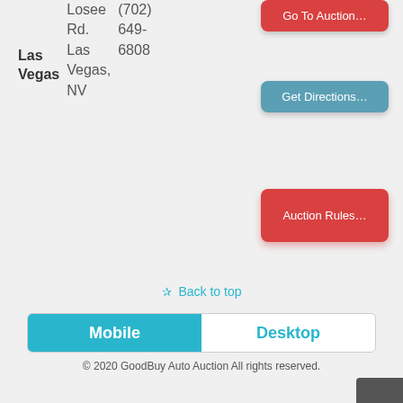Las Vegas Losee Rd. Las Vegas, NV (702) 649-6808
Go To Auction...
Get Directions...
Auction Rules...
✰ Back to top
Mobile | Desktop
© 2020 GoodBuy Auto Auction All rights reserved.